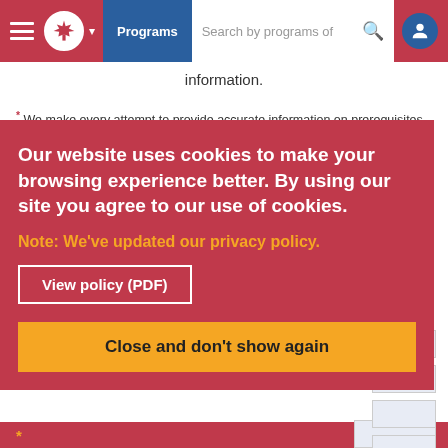Programs | Search by programs of
information.
* We make every attempt to provide accurate information on prerequisites, programs, and tuition. However, this information is subject to change without notice and we highly recommend that you [contact the institution before applying].
Our website uses cookies to make your browsing experience better. By using our site you agree to our use of cookies.
Note: We've updated our privacy policy.
View policy (PDF)
Close and don't show again